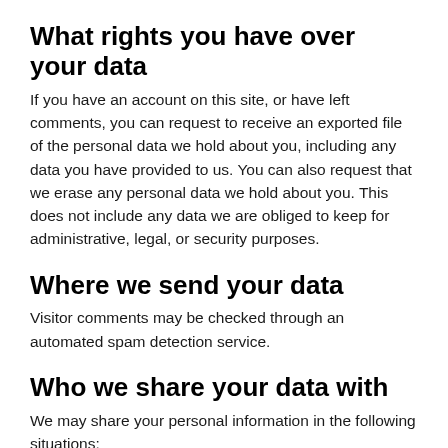What rights you have over your data
If you have an account on this site, or have left comments, you can request to receive an exported file of the personal data we hold about you, including any data you have provided to us. You can also request that we erase any personal data we hold about you. This does not include any data we are obliged to keep for administrative, legal, or security purposes.
Where we send your data
Visitor comments may be checked through an automated spam detection service.
Who we share your data with
We may share your personal information in the following situations: